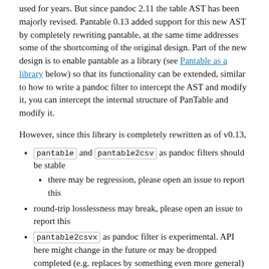used for years. But since pandoc 2.11 the table AST has been majorly revised. Pantable 0.13 added support for this new AST by completely rewriting pantable, at the same time addresses some of the shortcoming of the original design. Part of the new design is to enable pantable as a library (see Pantable as a library below) so that its functionality can be extended, similar to how to write a pandoc filter to intercept the AST and modify it, you can intercept the internal structure of PanTable and modify it.
However, since this library is completely rewritten as of v0.13,
pantable and pantable2csv as pandoc filters should be stable
there may be regression, please open an issue to report this
round-trip losslessness may break, please open an issue to report this
pantable2csvx as pandoc filter is experimental. API here might change in the future or may be dropped completed (e.g. replaces by something even more general)